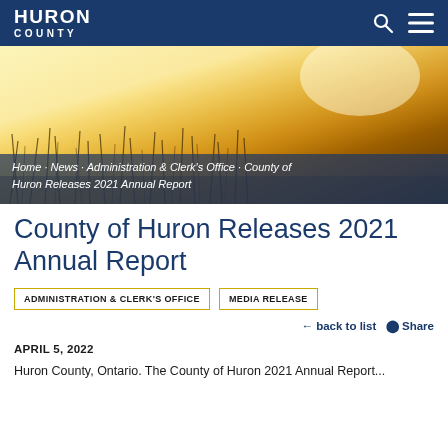HURON COUNTY
[Figure (photo): Golden wheat/grass field bathed in warm sunlight, used as hero banner image for the Huron County website]
Home · News · Administration & Clerk's Office · County of Huron Releases 2021 Annual Report
County of Huron Releases 2021 Annual Report
ADMINISTRATION & CLERK'S OFFICE   MEDIA RELEASE
← back to list   ◄ Share
APRIL 5, 2022
Huron County, Ontario. The County of Huron 2021 Annual Report...